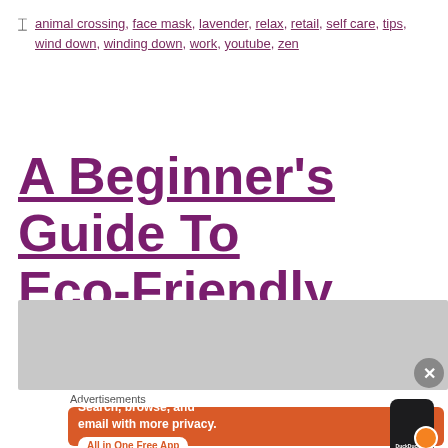animal crossing, face mask, lavender, relax, retail, self care, tips, wind down, winding down, work, youtube, zen
A Beginner's Guide To Eco-Friendly Products
[Figure (photo): Gray/light photo placeholder for article image]
[Figure (screenshot): DuckDuckGo advertisement banner: orange background with text 'Search, browse, and email with more privacy. All in One Free App' and a phone image with DuckDuckGo logo]
Advertisements